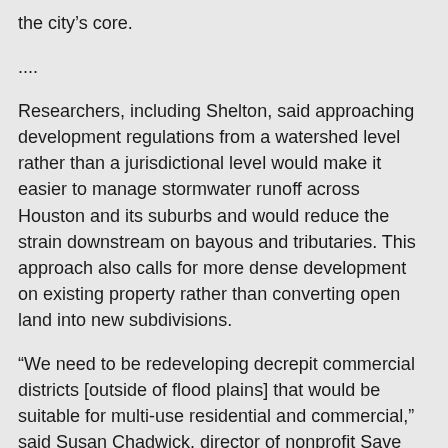the city's core.
....
Researchers, including Shelton, said approaching development regulations from a watershed level rather than a jurisdictional level would make it easier to manage stormwater runoff across Houston and its suburbs and would reduce the strain downstream on bayous and tributaries. This approach also calls for more dense development on existing property rather than converting open land into new subdivisions.
“We need to be redeveloping decrepit commercial districts [outside of flood plains] that would be suitable for multi-use residential and commercial,” said Susan Chadwick, director of nonprofit Save Buffalo Bayou. “Look at all those strip malls all the way up North Shepherd.”